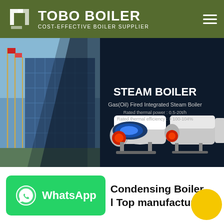TOBO BOILER — COST-EFFECTIVE BOILER SUPPLIER
[Figure (screenshot): Hero banner showing Steam Boiler product page. Dark background with industrial steam boilers (white and blue units with red burners). Text overlay: 'STEAM BOILER', 'Gas(Oil) Fired Integrated Steam Boiler', 'Rated thermal power: 0.5-20t/h', 'Rated thermal efficiency: > 100-104%'. Left side shows outdoor industrial building with blue cladding and flagpoles.]
[Figure (screenshot): WhatsApp button (green with phone icon) and partial text 'Condensing Boiler | Top manufacturer' with a yellow circle element in the bottom right corner.]